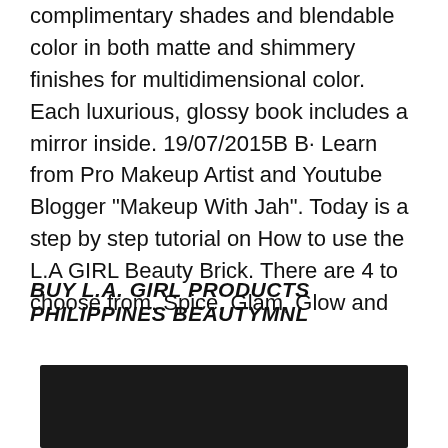complimentary shades and blendable color in both matte and shimmery finishes for multidimensional color. Each luxurious, glossy book includes a mirror inside. 19/07/2015B B· Learn from Pro Makeup Artist and Youtube Blogger "Makeup With Jah". Today is a step by step tutorial on How to use the L.A GIRL Beauty Brick. There are 4 to choose from. Spice, Glam, Glow and
BUY L.A. GIRL PRODUCTS PHILIPPINES BEAUTYMNL
[Figure (photo): Dark/black rectangular image at bottom of page, partially cropped]